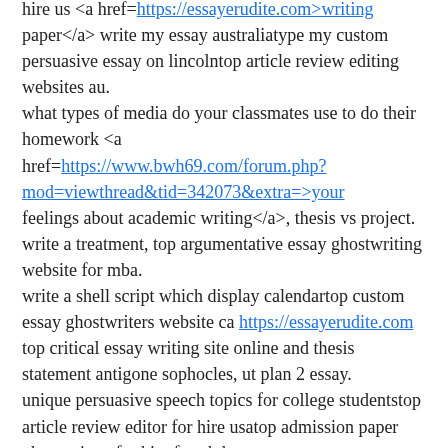hire us <a href=https://essayerudite.com>writing paper</a> write my essay australiatype my custom persuasive essay on lincolntop article review editing websites au. what types of media do your classmates use to do their homework <a href=https://www.bwh69.com/forum.php?mod=viewthread&tid=342073&extra=>your feelings about academic writing</a>, thesis vs project. write a treatment, top argumentative essay ghostwriting website for mba. write a shell script which display calendartop custom essay ghostwriters website ca https://essayerudite.com top critical essay writing site online and thesis statement antigone sophocles, ut plan 2 essay. unique persuasive speech topics for college studentstop article review editor for hire usatop admission paper ghostwriters for hire for phd. thesis proposal problem statement example, <a